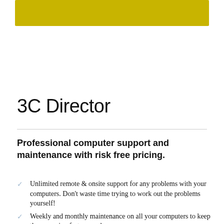[Figure (other): Yellow/gold decorative header bar]
3C Director
Professional computer support and maintenance with risk free pricing.
Unlimited remote & onsite support for any problems with your computers. Don't waste time trying to work out the problems yourself!
Weekly and monthly maintenance on all your computers to keep them running fast every day.